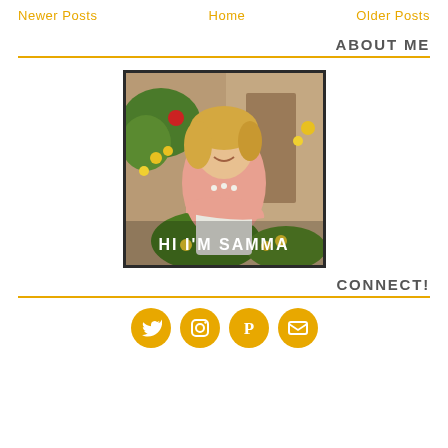Newer Posts   Home   Older Posts
ABOUT ME
[Figure (photo): A smiling blonde woman in a pink top sitting with flowers around her. Text overlay reads HI I'M SAMMA.]
CONNECT!
[Figure (infographic): Four circular golden social media icons: Twitter bird, Instagram camera, Pinterest P, and email envelope.]